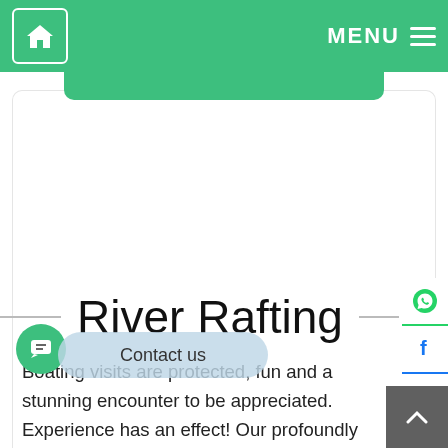River Rafting — website header with home icon and MENU button
River Rafting
Boating visits are protected, fun and a stunning encounter to be appreciated. Experience has an effect! Our profoundly qualified and administration-situated staff is focused on surpassing your astonitions with goal to make your Kunhar stream boating experience all that it tends to be. Kunhar River Rafting Enterprise has its own perpetual